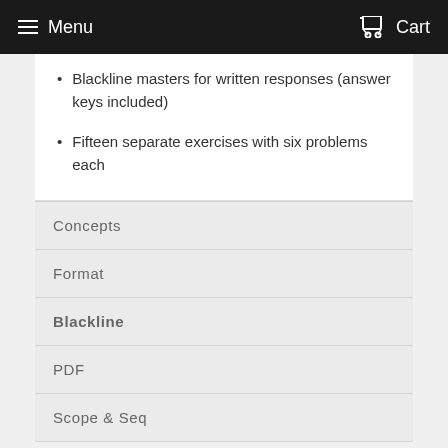Menu   Cart
Blackline masters for written responses (answer keys included)
Fifteen separate exercises with six problems each
Concepts
Format
Blackline
PDF
Scope & Seq